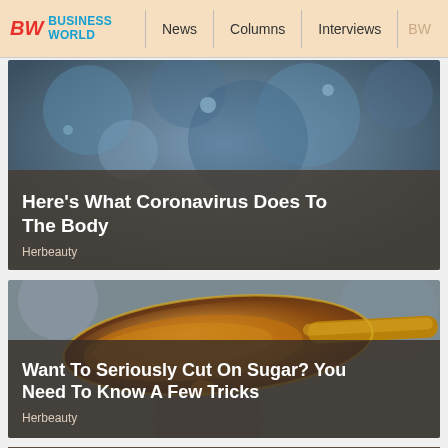BW BUSINESSWORLD | News | Columns | Interviews | BW
[Figure (photo): Article card with blurred blue/grey background showing coronavirus-related image, with overlay text. Title: Here's What Coronavirus Does To The Body. Source: Herbeauty]
[Figure (photo): Article card showing a close-up macro photo of a spoon filled with honey/syrup dripping. Title: Want To Seriously Cut On Sugar? You Need To Know A Few Tricks. Source: Herbeauty]
[Figure (photo): Bottom partial article card image, partially visible]